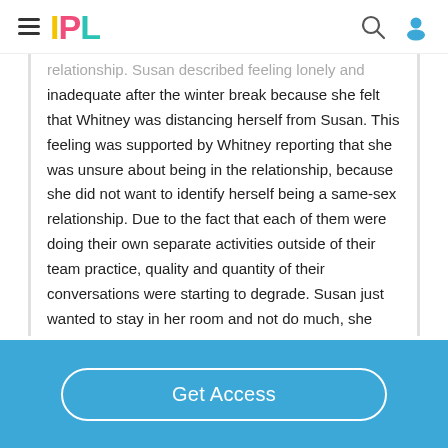IPL
relationship. Susan described feeling lonely and inadequate after the winter break because she felt that Whitney was distancing herself from Susan. This feeling was supported by Whitney reporting that she was unsure about being in the relationship, because she did not want to identify herself being a same-sex relationship. Due to the fact that each of them were doing their own separate activities outside of their team practice, quality and quantity of their conversations were starting to degrade. Susan just wanted to stay in her room and not do much, she expected Whitney to do the same, but Whitney said that she had her own goals to strive to….
Get Access